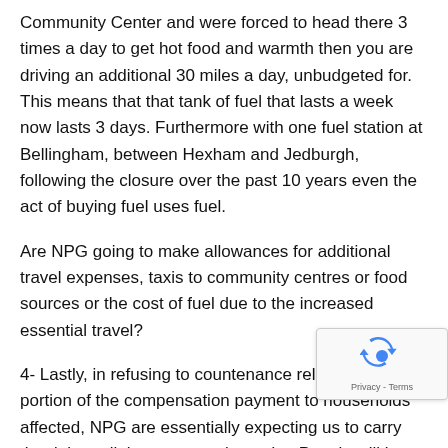Community Center and were forced to head there 3 times a day to get hot food and warmth then you are driving an additional 30 miles a day, unbudgeted for. This means that that tank of fuel that lasts a week now lasts 3 days. Furthermore with one fuel station at Bellingham, between Hexham and Jedburgh, following the closure over the past 10 years even the act of buying fuel uses fuel.
Are NPG going to make allowances for additional travel expenses, taxis to community centres or food sources or the cost of fuel due to the increased essential travel?
4- Lastly, in refusing to countenance releasing even a portion of the compensation payment to households affected, NPG are essentially expecting us to carry the debt until that payment is made.  People will be borrowing from banks, credit cards, families and friends and the consequences should be borne by the grid, not by...
[Figure (other): reCAPTCHA widget overlay in bottom-right corner showing recycle-arrows logo and 'Privacy - Terms' text]